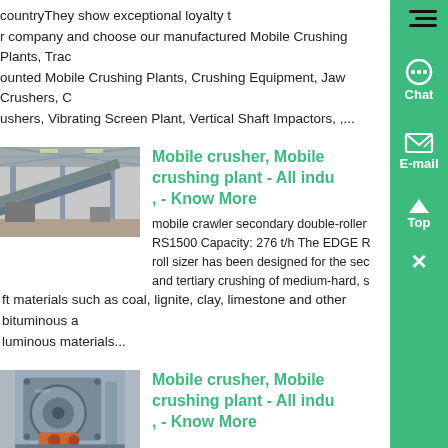countryThey show exceptional loyalty t... r company and choose our manufactured Mobile Crushing Plants, Track mounted Mobile Crushing Plants, Crushing Equipment, Jaw Crushers, Crushers, Vibrating Screen Plant, Vertical Shaft Impactors, ,...
[Figure (photo): Industrial warehouse or factory interior showing large equipment/conveyor structures]
Mobile crusher, Mobile crushing plant - All indu, - Know More
mobile crawler secondary double-roller RS1500 Capacity: 276 t/h The EDGE R roll sizer has been designed for the secondary and tertiary crushing of medium-hard, soft materials such as coal, lignite, clay, limestone and other bituminous a... luminous materials...
[Figure (photo): Close-up of a mobile crusher or crushing machine with mechanical parts visible]
Mobile crusher, Mobile crushing plant - All indu, - Know More